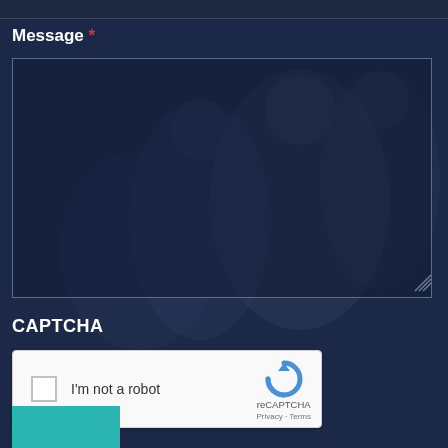[Figure (photo): Dark navy blue background with faint silhouettes of people in the background, giving a semi-transparent overlay effect over the form elements.]
Message *
[Figure (screenshot): Large text area input field with a dark semi-transparent background and light border, with a resize handle at bottom right.]
CAPTCHA
[Figure (screenshot): reCAPTCHA widget showing a checkbox labeled 'I'm not a robot' with the reCAPTCHA logo and Privacy/Terms links on the right side. White background with rounded corners.]
[Figure (other): Teal/turquoise colored button at the bottom left, partially visible.]